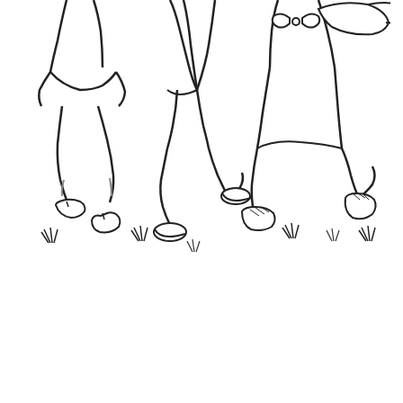[Figure (illustration): Black and white line drawing (coloring book style) showing the lower bodies of three children running across a grassy field. The leftmost child wears a dress and mary-jane shoes with socks. The middle child wears shorts and sneakers. The rightmost child wears pants, a cape/scarf blowing in the wind, and lace-up shoes. Small tufts of grass are drawn at the ground line. The children appear to be running energetically, with legs mid-stride.]